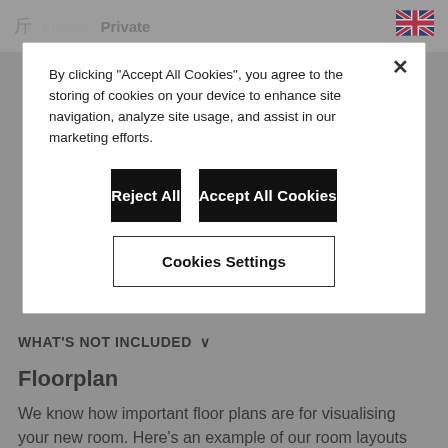Kitchen: Private
By clicking "Accept All Cookies", you agree to the storing of cookies on your device to enhance site navigation, analyze site usage, and assist in our marketing efforts.
Reject All
Accept All Cookies
Cookies Settings
WHAT'S NOT INCLUDED ∨
Floorplan
We know how important floor plans are for visualising your new room. Here's an example of our room layouts